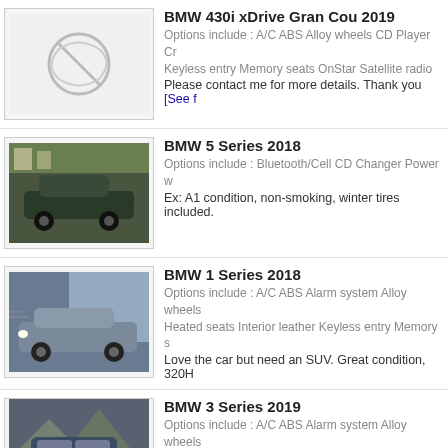BMW 430i xDrive Gran Cou 2019 — Options include : A/C ABS Alloy wheels CD Player Cr Keyless entry Memory seats OnStar Satellite radio Please contact me for more details. Thank you [See f…]
BMW 5 Series 2018 — Options include : Bluetooth/Cell CD Changer Power w Ex: A1 condition, non-smoking, winter tires included.
BMW 1 Series 2018 — Options include : A/C ABS Alarm system Alloy wheels Heated seats Interior leather Keyless entry Memory s Love the car but need an SUV. Great condition, 320H
BMW 3 Series 2019 — Options include : A/C ABS Alarm system Alloy wheels GPS Heated mirrors Heated seats Interior leather Inte radio Sport kit Xenon lights BMW 330i xDrive Sedan 2019, premium package, mi total kilometer allowance 48,000, excess km charge